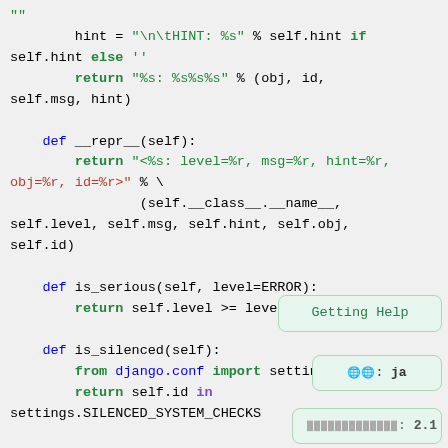[Figure (screenshot): Python source code snippet showing class methods: __str__, __repr__, is_serious, is_silenced with syntax highlighting. Green keywords, blue def/return/from/import keywords, red string format specifiers, purple 'in' keyword. Two UI hint boxes visible: 'Getting Help' and language/version indicators.]